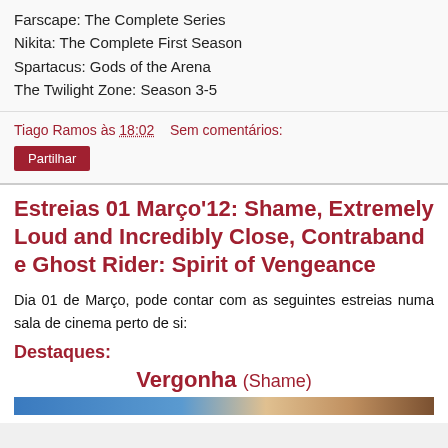Farscape: The Complete Series
Nikita: The Complete First Season
Spartacus: Gods of the Arena
The Twilight Zone: Season 3-5
Tiago Ramos às 18:02    Sem comentários:
Partilhar
Estreias 01 Março'12: Shame, Extremely Loud and Incredibly Close, Contraband e Ghost Rider: Spirit of Vengeance
Dia 01 de Março, pode contar com as seguintes estreias numa sala de cinema perto de si:
Destaques:
Vergonha (Shame)
[Figure (photo): Bottom strip showing a partial movie image, appears to be a close-up of a person's face]